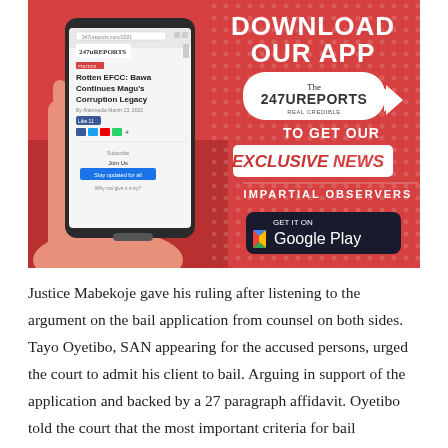[Figure (infographic): Advertisement banner for 247Ureports app download. Red background with a hand holding a smartphone showing the 247Ureports website. Text reads 'DOWNLOAD OUR APP' with 247Ureports logo, 'TO GET OUR EXCLUSIVE NEWS', 'IMPARTIAL OBSERVERS', and a Google Play download button.]
Justice Mabekoje gave his ruling after listening to the argument on the bail application from counsel on both sides. Tayo Oyetibo, SAN appearing for the accused persons, urged the court to admit his client to bail. Arguing in support of the application and backed by a 27 paragraph affidavit. Oyetibo told the court that the most important criteria for bail